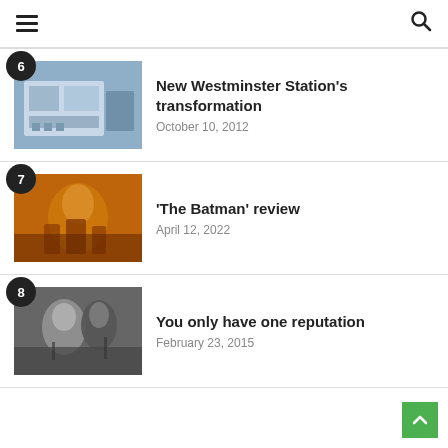Navigation bar with hamburger menu and search icon
6. New Westminster Station's transformation — October 10, 2012
7. 'The Batman' review — April 12, 2022
8. You only have one reputation — February 23, 2015